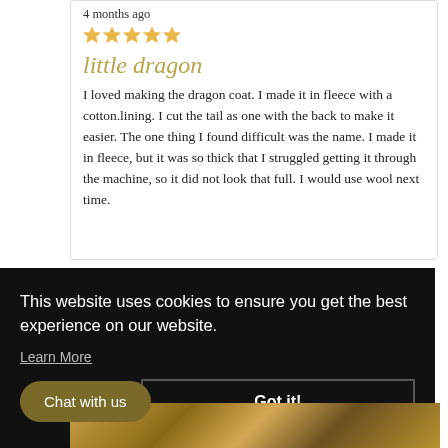4 months ago
[Figure (other): 5 gold/orange star rating icons]
little dragon
I loved making the dragon coat. I made it in fleece with a cotton.lining. I cut the tail as one with the back to make it easier. The one thing I found difficult was the name. I made it in fleece, but it was so thick that I struggled getting it through the machine, so it did not look that full. I would use wool next time.
This website uses cookies to ensure you get the best experience on our website.
Learn More
Chat with us
Got it!
[Figure (photo): Partial photo of a knitted/sewn dragon coat item in warm brown tones]